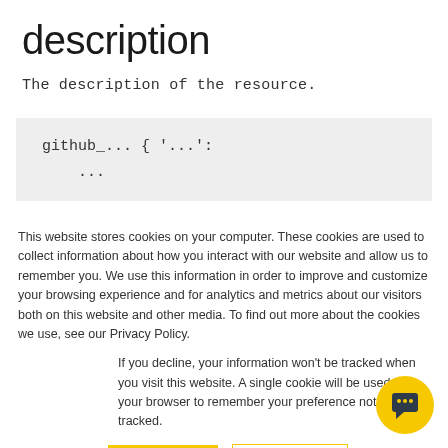description
The description of the resource.
github_... { '...': ...
This website stores cookies on your computer. These cookies are used to collect information about how you interact with our website and allow us to remember you. We use this information in order to improve and customize your browsing experience and for analytics and metrics about our visitors both on this website and other media. To find out more about the cookies we use, see our Privacy Policy.
If you decline, your information won’t be tracked when you visit this website. A single cookie will be used in your browser to remember your preference not to be tracked.